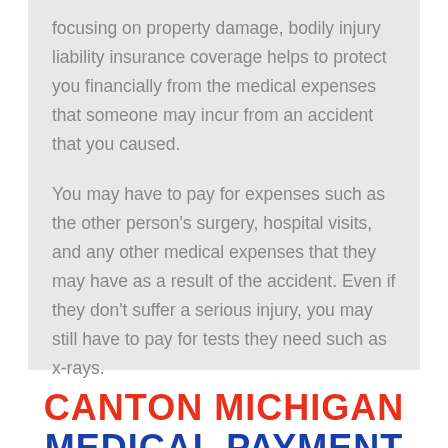focusing on property damage, bodily injury liability insurance coverage helps to protect you financially from the medical expenses that someone may incur from an accident that you caused.

You may have to pay for expenses such as the other person's surgery, hospital visits, and any other medical expenses that they may have as a result of the accident. Even if they don't suffer a serious injury, you may still have to pay for tests they need such as x-rays.
CANTON MICHIGAN MEDICAL PAYMENT